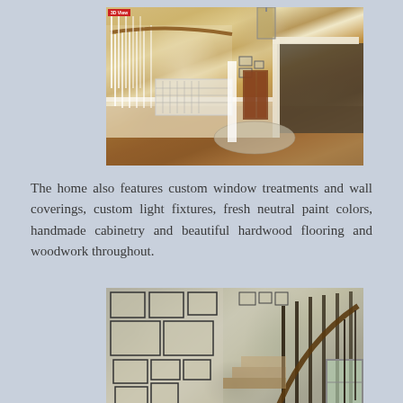[Figure (photo): Interior photo of a home entryway/foyer showing a staircase with white railings, wood banister, hardwood floors, radiator cover, pendant lantern light fixture, framed artwork on walls, and a view through to a living room.]
The home also features custom window treatments and wall coverings, custom light fixtures, fresh neutral paint colors, handmade cabinetry and beautiful hardwood flooring and woodwork throughout.
[Figure (photo): Interior photo looking down a curved staircase with dark wood balusters and handrail, walls covered with a gallery of framed artwork/maps, and windows visible at the bottom.]